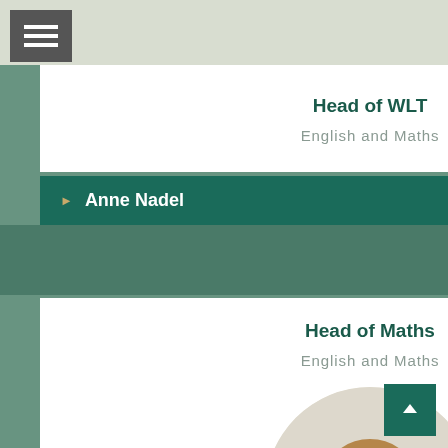[Figure (other): Hamburger menu button on top bar]
Head of WLT
English and Maths
Anne Nadel
Head of Maths
English and Maths
[Figure (photo): Circular profile photo of a woman with short bob hair wearing a blue turtleneck sweater, smiling]